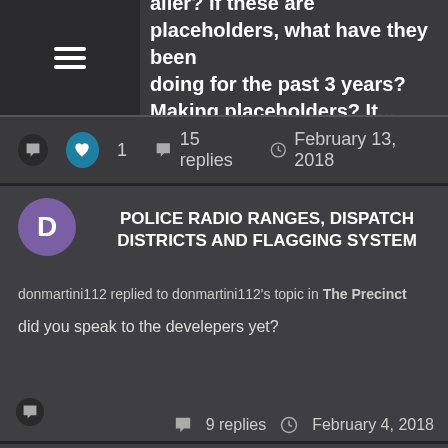ailer? If these are placeholders, what have they been doing for the past 3 years? Making placeholders? It...
1   15 replies   February 13, 2018
POLICE RADIO RANGES, DISPATCH DISTRICTS AND FLAGGING SYSTEM
donmartini112 replied to donmartini112's topic in The Precinct
did you speak to the develepers yet?
9 replies   February 4, 2018
HOW MUCH LONGER UNTIL GAMEPLAY TRAILER COMES OUT?Z
donmartini112 replied to mrmccheesie's question in Tourism cspan